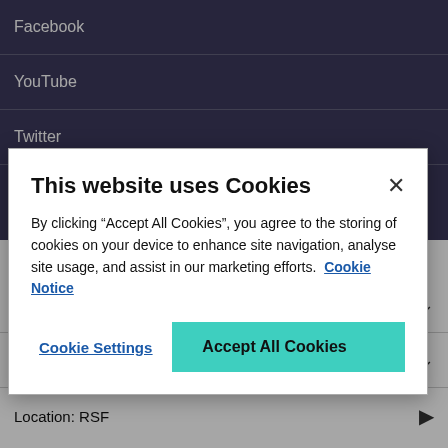Facebook
YouTube
Twitter
What we do
About us
Location: RSF
This website uses Cookies
By clicking “Accept All Cookies”, you agree to the storing of cookies on your device to enhance site navigation, analyse site usage, and assist in our marketing efforts.  Cookie Notice
Cookie Settings
Accept All Cookies